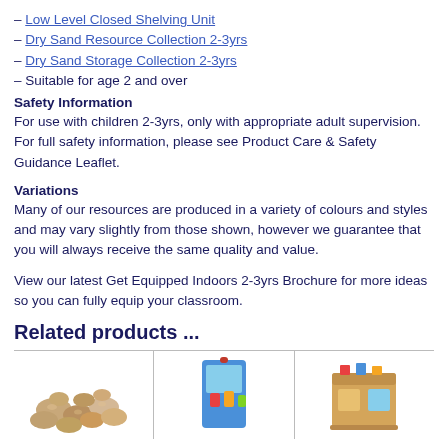– Low Level Closed Shelving Unit
– Dry Sand Resource Collection 2-3yrs
– Dry Sand Storage Collection 2-3yrs
– Suitable for age 2 and over
Safety Information
For use with children 2-3yrs, only with appropriate adult supervision.
For full safety information, please see Product Care & Safety Guidance Leaflet.
Variations
Many of our resources are produced in a variety of colours and styles and may vary slightly from those shown, however we guarantee that you will always receive the same quality and value.
View our latest Get Equipped Indoors 2-3yrs Brochure for more ideas so you can fully equip your classroom.
Related products ...
[Figure (photo): Three product images: stones/pebbles set, sand and water play set with colorful toys, wooden activity cube]
[Figure (photo): Sand and water play set]
[Figure (photo): Wooden activity cube]